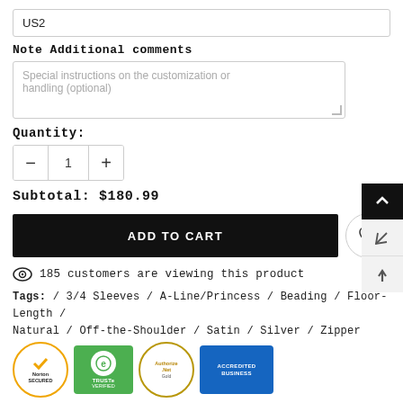US2
Note Additional comments
Special instructions on the customization or handling (optional)
Quantity:
Subtotal: $180.99
ADD TO CART
185 customers are viewing this product
Tags: / 3/4 Sleeves / A-Line/Princess / Beading / Floor-Length / Natural / Off-the-Shoulder / Satin / Silver / Zipper
[Figure (logo): Trust badges: Norton Secured, TRUSTe Verified, Authorize.Net, BBB Accredited Business]